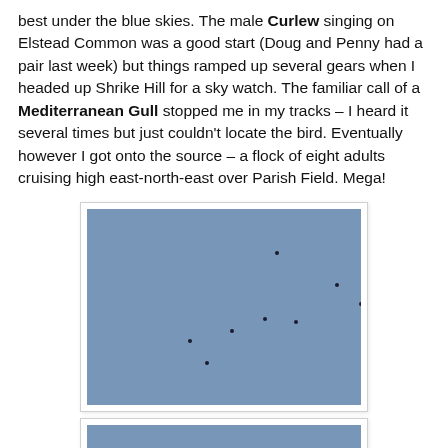best under the blue skies. The male Curlew singing on Elstead Common was a good start (Doug and Penny had a pair last week) but things ramped up several gears when I headed up Shrike Hill for a sky watch. The familiar call of a Mediterranean Gull stopped me in my tracks – I heard it several times but just couldn't locate the bird. Eventually however I got onto the source – a flock of eight adults cruising high east-north-east over Parish Field. Mega!
[Figure (photo): Photo of blue sky with eight small dark specks representing Mediterranean Gulls flying high.]
[Figure (photo): Second photo of blue sky, partially visible, showing similar scene of Mediterranean Gulls.]